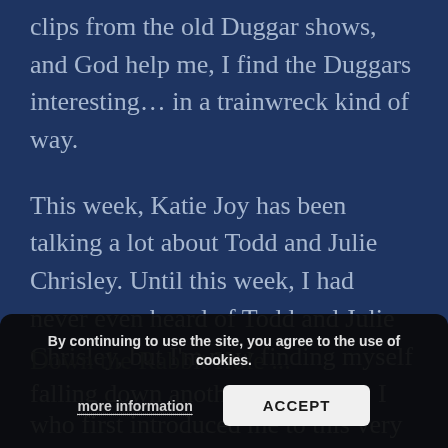clips from the old Duggar shows, and God help me, I find the Duggars interesting… in a trainwreck kind of way.
This week, Katie Joy has been talking a lot about Todd and Julie Chrisley. Until this week, I had never even heard of Todd and Julie Chrisley, but I'm now finding myself falling down another rabbit hole. I think I heard their name for the first time last week, but it wasn't even Katie Joy who uttered it. In ... Down the Rabbit Hole ... who first introduced me to this very
By continuing to use the site, you agree to the use of cookies. more information ACCEPT